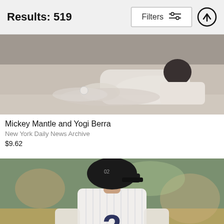Results: 519
Filters
[Figure (photo): Black and white photo of a baseball player sliding on the ground, with another player visible, dust kicked up]
Mickey Mantle and Yogi Berra
New York Daily News Archive
$9.62
[Figure (photo): Color photo of a baseball player wearing a New York Yankees pinstripe jersey with number 2, viewed from behind, wearing a dark batting helmet, crowd blurred in background]